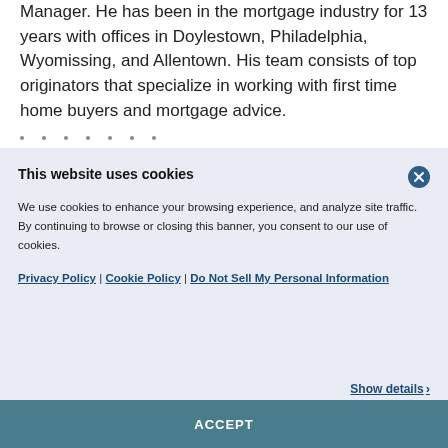Manager. He has been in the mortgage industry for 13 years with offices in Doylestown, Philadelphia, Wyomissing, and Allentown. His team consists of top originators that specialize in working with first time home buyers and mortgage advice.
This website uses cookies
We use cookies to enhance your browsing experience, and analyze site traffic. By continuing to browse or closing this banner, you consent to our use of cookies.
Privacy Policy | Cookie Policy | Do Not Sell My Personal Information
Show details >
ACCEPT